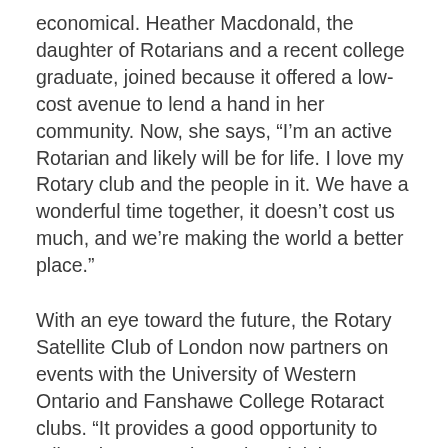economical. Heather Macdonald, the daughter of Rotarians and a recent college graduate, joined because it offered a low-cost avenue to lend a hand in her community. Now, she says, “I’m an active Rotarian and likely will be for life. I love my Rotary club and the people in it. We have a wonderful time together, it doesn’t cost us much, and we’re making the world a better place.”
With an eye toward the future, the Rotary Satellite Club of London now partners on events with the University of Western Ontario and Fanshawe College Rotaract clubs. “It provides a good opportunity to talk to those members about joining our club after they’re done with school,” says Langford.